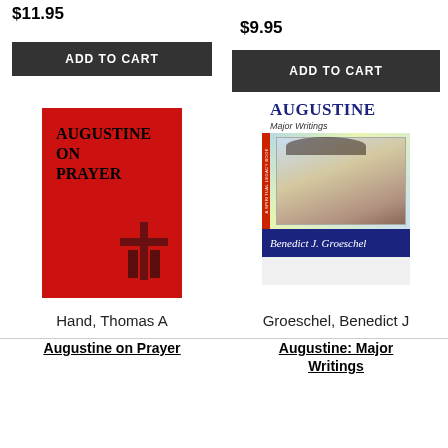$11.95
$9.95
ADD TO CART
ADD TO CART
[Figure (illustration): Book cover: Augustine on Prayer - red cover with large title text and cross symbol at bottom]
[Figure (illustration): Book cover: Augustine Major Writings by Benedict J. Groeschel - white cover with portrait illustration and navy blue author bar at bottom]
Hand, Thomas A
Groeschel, Benedict J
Augustine on Prayer
Augustine: Major Writings